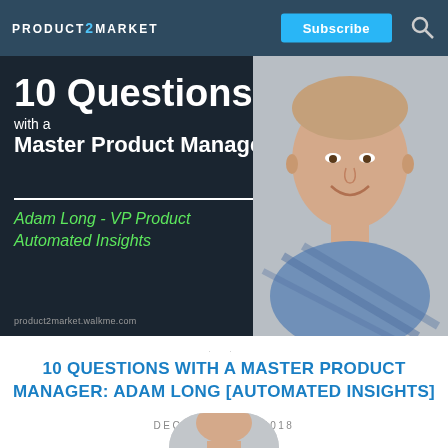PRODUCT2MARKET
[Figure (photo): Hero image for blog post: dark background on left with '10 Questions with a Master Product Manager' heading, Adam Long - VP Product Automated Insights subtitle in green italic, and a photo of a young man in a plaid shirt on the right]
10 QUESTIONS WITH A MASTER PRODUCT MANAGER: ADAM LONG [AUTOMATED INSIGHTS]
DECEMBER 19, 2018
[Figure (photo): Bottom portion of a photo of Adam Long, partially visible at the bottom of the page]